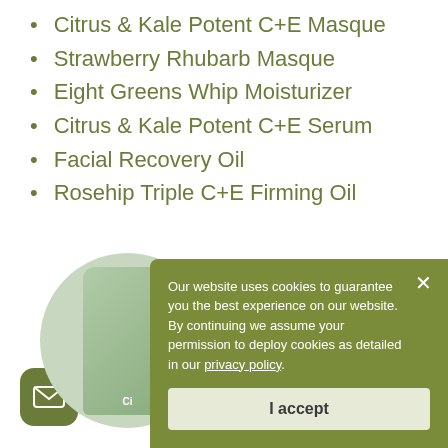Citrus & Kale Potent C+E Masque
Strawberry Rhubarb Masque
Eight Greens Whip Moisturizer
Citrus & Kale Potent C+E Serum
Facial Recovery Oil
Rosehip Triple C+E Firming Oil
[Figure (screenshot): Cookie consent popup overlay on a skincare website. Popup has dark olive/green background with white text reading: 'Our website uses cookies to guarantee you the best experience on our website. By continuing we assume your permission to deploy cookies as detailed in our privacy policy.' with an 'I accept' button. Also shows partial product image and email icon button.]